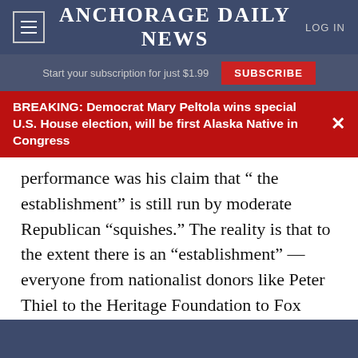Anchorage Daily News
Start your subscription for just $1.99  SUBSCRIBE
BREAKING: Democrat Mary Peltola wins special U.S. House election, will be first Alaska Native in Congress
performance was his claim that “ the establishment” is still run by moderate Republican “squishes.” The reality is that to the extent there is an “establishment” — everyone from nationalist donors like Peter Thiel to the Heritage Foundation to Fox News — it’s mostly MAGA.
House Republicans completed their transition to full MAGA when they defenestrated Rep. Liz